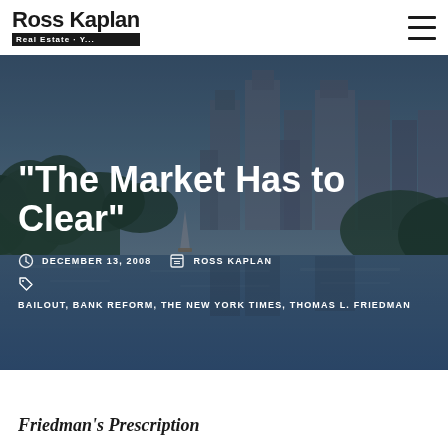Ross Kaplan Real Estate Team
"The Market Has to Clear"
DECEMBER 13, 2008
ROSS KAPLAN
BAILOUT, BANK REFORM, THE NEW YORK TIMES, THOMAS L. FRIEDMAN
Friedman's Prescription